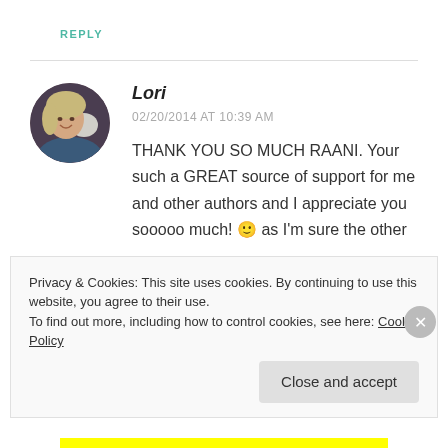REPLY
[Figure (photo): Circular avatar photo of a woman (Lori) with light hair, smiling, holding a cat]
Lori
02/20/2014 AT 10:39 AM
THANK YOU SO MUCH RAANI. Your such a GREAT source of support for me and other authors and I appreciate you sooooo much! 🙂 as I'm sure the other
Privacy & Cookies: This site uses cookies. By continuing to use this website, you agree to their use.
To find out more, including how to control cookies, see here: Cookie Policy
Close and accept